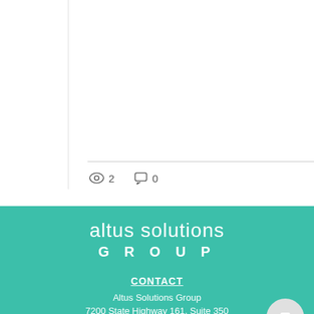2  0
[Figure (illustration): Views icon (eye), comments icon (speech bubble), and like icon (heart outline in red) with counts: 2 views, 0 comments, not liked]
altus solutions GROUP
CONTACT
Altus Solutions Group
7200 State Highway 161, Suite 350
Irving, TX 75039